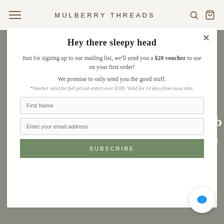MULBERRY THREADS
Hey there sleepy head
Just for signing up to our mailing list, we'll send you a $20 voucher to use on your first order!
We promise to only send you the good stuff.
*Voucher valid for full priced orders over $100. Valid for 14 days from issue date.
First Name
Enter your email address
SUBSCRIBE